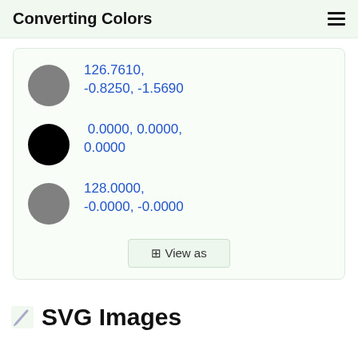Converting Colors
126.7610, -0.8250, -1.5690
0.0000, 0.0000, 0.0000
128.0000, -0.0000, -0.0000
⊞ View as
SVG Images